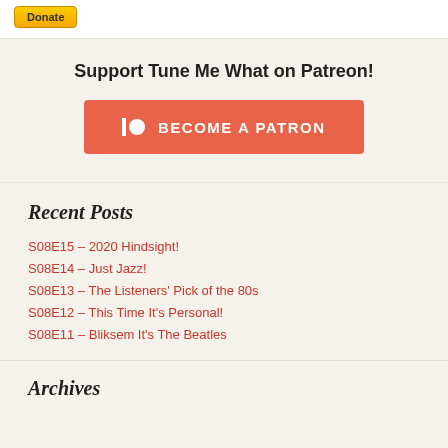[Figure (other): PayPal Donate button (yellow/orange gradient button with 'Donate' text)]
Support Tune Me What on Patreon!
[Figure (other): Patreon 'Become a Patron' button (red/salmon colored button with Patreon logo icon and white text 'BECOME A PATRON')]
Recent Posts
S08E15 – 2020 Hindsight!
S08E14 – Just Jazz!
S08E13 – The Listeners' Pick of the 80s
S08E12 – This Time It's Personal!
S08E11 – Bliksem It's The Beatles
Archives